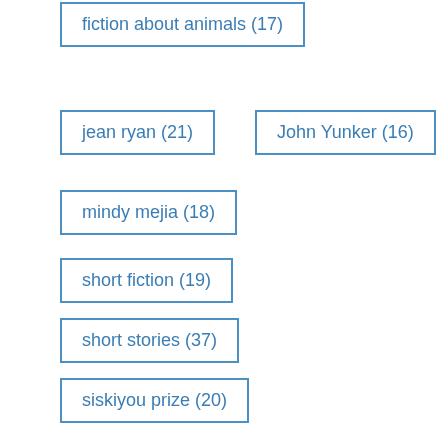fiction about animals (17)
jean ryan (21)
John Yunker (16)
mindy mejia (18)
short fiction (19)
short stories (37)
siskiyou prize (20)
stories about animals (16)
The Tourist Trail (16)
vegan (19)